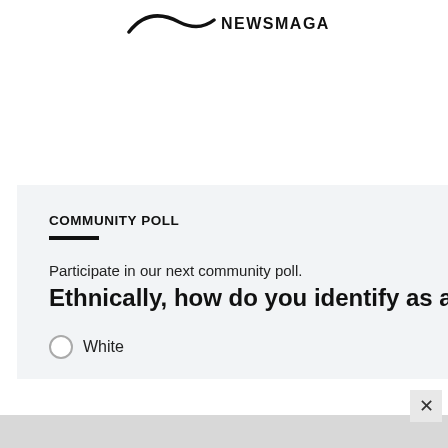[Figure (logo): News magazine logo with stylized swoop and the text NEWSMAGAZINE]
COMMUNITY POLL
Participate in our next community poll.
Ethnically, how do you identify as a Canadian?
White